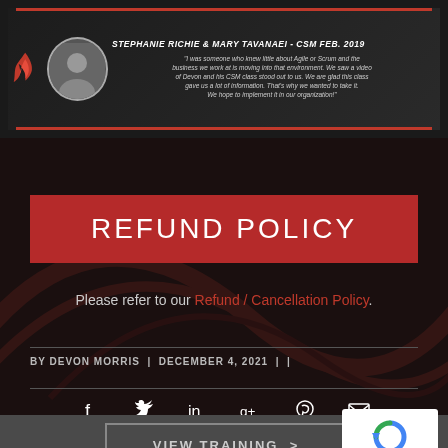[Figure (photo): Banner with two women's photo, red flame logo, and testimonial quote from Stephanie Richie & Mary Tavanaei - CSM Feb. 2019]
REFUND POLICY
Please refer to our Refund / Cancellation Policy.
BY DEVON MORRIS | DECEMBER 4, 2021 | |
[Figure (other): Social media share icons: Facebook, Twitter, LinkedIn, Google+, Pinterest, Email]
VIEW TRAINING >
[Figure (other): reCAPTCHA badge showing Privacy - Terms]